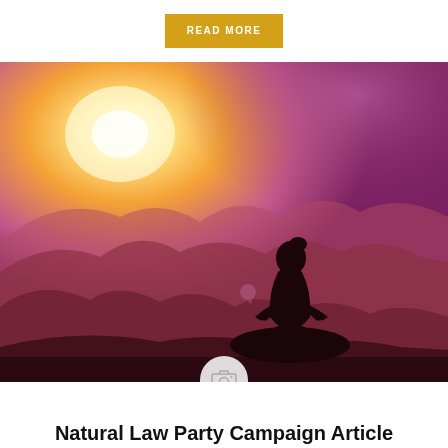READ MORE
[Figure (photo): Silhouette of a person sitting in a lotus yoga meditation pose on a rocky mountain peak at golden sunset, with dramatic orange and pink sky and mountain range in background with sunburst light effect]
Natural Law Party Campaign Article